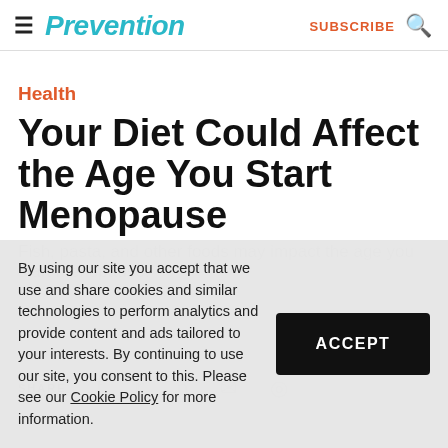Prevention | SUBSCRIBE
Health
Your Diet Could Affect the Age You Start Menopause
Fish, pasta, and other foods may impact the age you start menopause.
By using our site you accept that we use and share cookies and similar technologies to perform analytics and provide content and ads tailored to your interests. By continuing to use our site, you consent to this. Please see our Cookie Policy for more information.